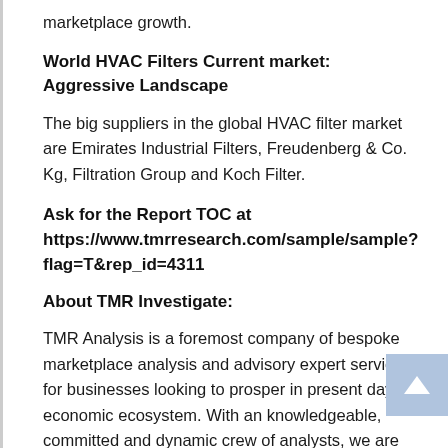marketplace growth.
World HVAC Filters Current market: Aggressive Landscape
The big suppliers in the global HVAC filter market are Emirates Industrial Filters, Freudenberg & Co. Kg, Filtration Group and Koch Filter.
Ask for the Report TOC at https://www.tmrresearch.com/sample/sample?flag=T&rep_id=4311
About TMR Investigate:
TMR Analysis is a foremost company of bespoke marketplace analysis and advisory expert services for businesses looking to prosper in present day economic ecosystem. With an knowledgeable, committed and dynamic crew of analysts, we are redefining our clients’